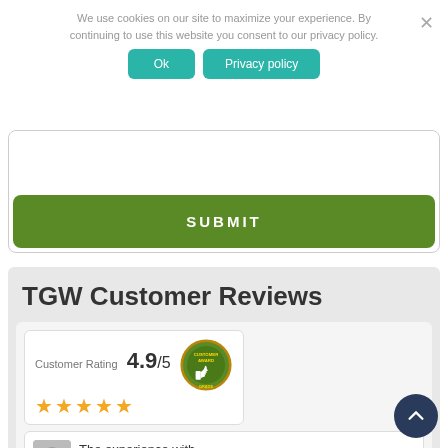We use cookies on our site to maximize your experience. By continuing to use this website you consent to our privacy policy.
Ok
Privacy policy
[Figure (screenshot): Text area input box (empty) with a SUBMIT button below it in green]
TGW Customer Reviews
[Figure (infographic): Customer Rating badge showing 4.9/5 with 5 gold stars and a Customer Award badge/seal with thumbs up icon]
The experience with TGW was GREAT! Everything was
MORE...